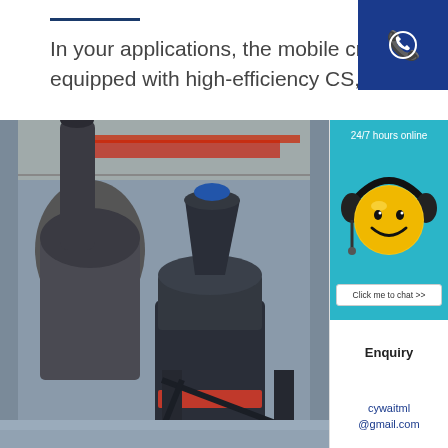In your applications, the mobile crusher equipped with high-efficiency CS, HST, o
[Figure (photo): Industrial grinding mill / crusher machine photographed in a factory setting with large industrial equipment visible in the background]
24/7 hours online
[Figure (illustration): Smiley face emoji wearing headphones with microphone - customer service mascot]
Click me to chat >>
Enquiry
cywaitml @gmail.com